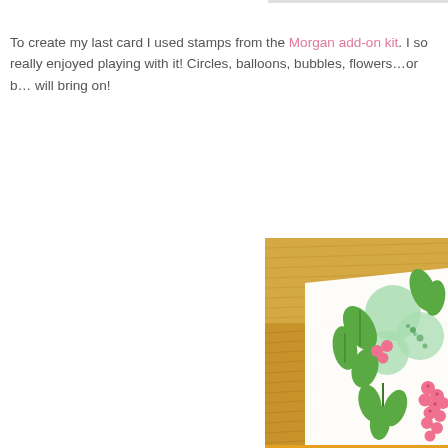To create my last card I used stamps from the Morgan add-on kit. I so really enjoyed playing with it! Circles, balloons, bubbles, flowers…or b… will bring on!
[Figure (photo): A greeting card with a botanical stamp design featuring green leaves, light green circular shapes (bubbles or fruits), and clusters of pink berries, placed on a light wood grain surface.]